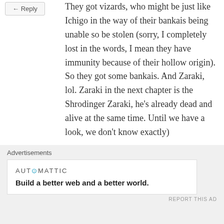They got vizards, who might be just like Ichigo in the way of their bankais being unable so be stolen (sorry, I completely lost in the words, I mean they have immunity because of their hollow origin). So they got some bankais. And Zaraki, lol. Zaraki in the next chapter is the Shrodinger Zaraki, he's already dead and alive at the same time. Until we have a look, we don't know exactly)
★ Like
Sunite
Advertisements
AUTOMATTIC
Build a better web and a better world.